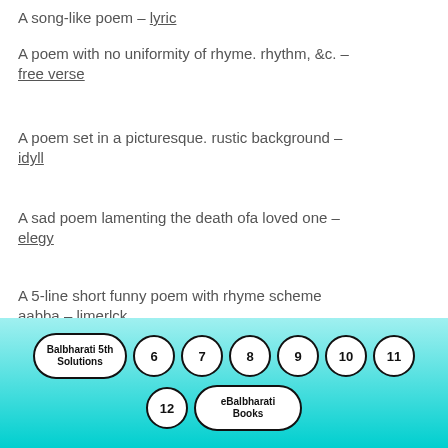A song-like poem – lyric
A poem with no uniformity of rhyme. rhythm, &c. – free verse
A poem set in a picturesque. rustic background – idyll
A sad poem lamenting the death ofa loved one – elegy
A 5-line short funny poem with rhyme scheme aabba – limerlck
A poem written, just to create htniour – humorous
Where The Mind Is Without Fear Class
10 English Workshop Questions and
Balbharati 5th Solutions 6 7 8 9 10 11 12 eBalbharati Books